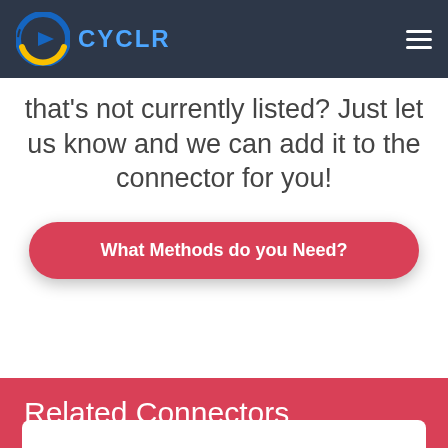CYCLR
that's not currently listed? Just let us know and we can add it to the connector for you!
What Methods do you Need?
Related Connectors